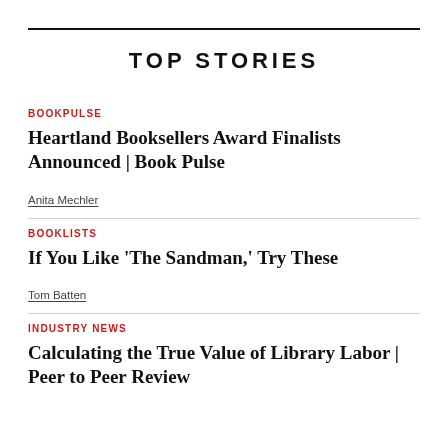TOP STORIES
BOOKPULSE
Heartland Booksellers Award Finalists Announced | Book Pulse
Anita Mechler
BOOKLISTS
If You Like 'The Sandman,' Try These
Tom Batten
INDUSTRY NEWS
Calculating the True Value of Library Labor | Peer to Peer Review